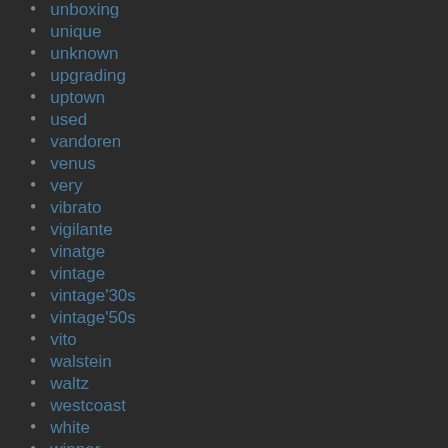unboxing
unique
unknown
upgrading
uptown
used
vandoren
venus
very
vibrato
vigilante
vinatge
vintage
vintage'30s
vintage'50s
vito
walstein
waltz
westcoast
white
winner
winslow